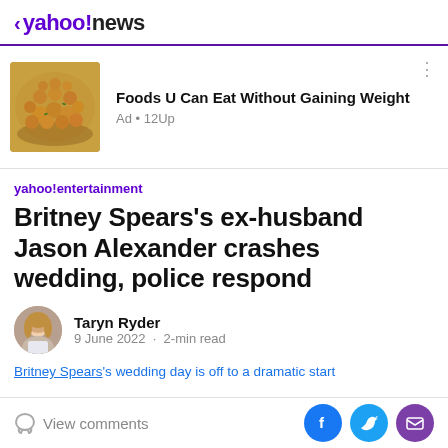< yahoo!news
[Figure (photo): Advertisement banner showing food image (chickpeas/roasted foods in a bowl) with text 'Foods U Can Eat Without Gaining Weight' and 'Ad • 12Up']
yahoo!entertainment
Britney Spears's ex-husband Jason Alexander crashes wedding, police respond
Taryn Ryder
9 June 2022 · 2-min read
Britney Spears's wedding day is off to a dramatic start
View comments